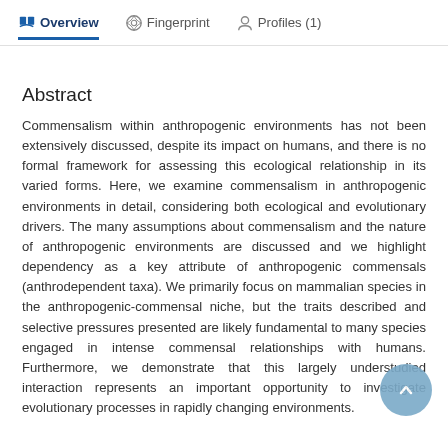Overview   Fingerprint   Profiles (1)
Abstract
Commensalism within anthropogenic environments has not been extensively discussed, despite its impact on humans, and there is no formal framework for assessing this ecological relationship in its varied forms. Here, we examine commensalism in anthropogenic environments in detail, considering both ecological and evolutionary drivers. The many assumptions about commensalism and the nature of anthropogenic environments are discussed and we highlight dependency as a key attribute of anthropogenic commensals (anthrodependent taxa). We primarily focus on mammalian species in the anthropogenic-commensal niche, but the traits described and selective pressures presented are likely fundamental to many species engaged in intense commensal relationships with humans. Furthermore, we demonstrate that this largely understudied interaction represents an important opportunity to investigate evolutionary processes in rapidly changing environments.